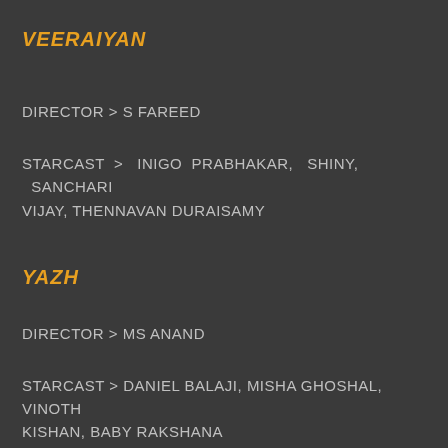VEERAIYAN
DIRECTOR > S FAREED
STARCAST > INIGO PRABHAKAR, SHINY, SANCHARI VIJAY, THENNAVAN DURAISAMY
YAZH
DIRECTOR > MS ANAND
STARCAST > DANIEL BALAJI, MISHA GHOSHAL, VINOTH KISHAN, BABY RAKSHANA